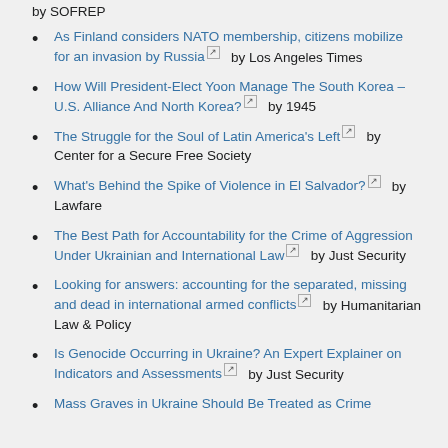by SOFREP
As Finland considers NATO membership, citizens mobilize for an invasion by Russia [ext]  by Los Angeles Times
How Will President-Elect Yoon Manage The South Korea – U.S. Alliance And North Korea? [ext]  by 1945
The Struggle for the Soul of Latin America's Left [ext]  by Center for a Secure Free Society
What's Behind the Spike of Violence in El Salvador? [ext]  by Lawfare
The Best Path for Accountability for the Crime of Aggression Under Ukrainian and International Law [ext]  by Just Security
Looking for answers: accounting for the separated, missing and dead in international armed conflicts [ext]  by Humanitarian Law & Policy
Is Genocide Occurring in Ukraine? An Expert Explainer on Indicators and Assessments [ext]  by Just Security
Mass Graves in Ukraine Should Be Treated as Crime